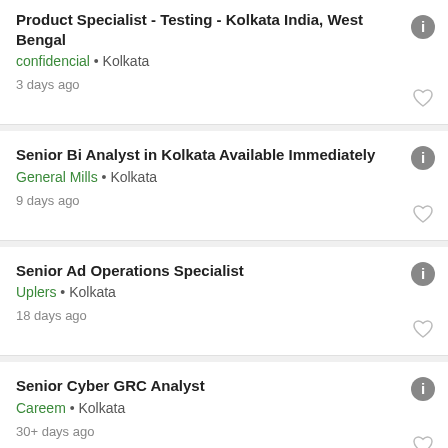Product Specialist - Testing - Kolkata India, West Bengal
confidencial • Kolkata
3 days ago
Senior Bi Analyst in Kolkata Available Immediately
General Mills • Kolkata
9 days ago
Senior Ad Operations Specialist
Uplers • Kolkata
18 days ago
Senior Cyber GRC Analyst
Careem • Kolkata
30+ days ago
Senior Bi Analyst
General Mills • Kolkata